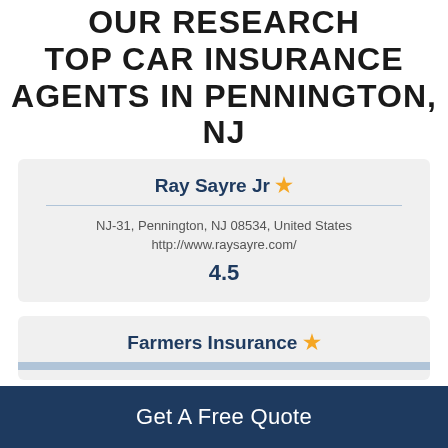OUR RESEARCH TOP CAR INSURANCE AGENTS IN PENNINGTON, NJ
Ray Sayre Jr ★
NJ-31, Pennington, NJ 08534, United States
http://www.raysayre.com/
4.5
Farmers Insurance ★
Get A Free Quote